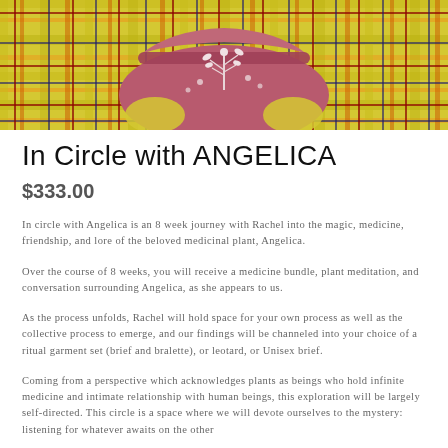[Figure (photo): Product photo showing a dusty rose/mauve embroidered underwear piece with floral botanical design, laid on a yellow and green plaid fabric background]
In Circle with ANGELICA
$333.00
In circle with Angelica is an 8 week journey with Rachel into the magic, medicine, friendship, and lore of the beloved medicinal plant, Angelica.
Over the course of 8 weeks, you will receive a medicine bundle, plant meditation, and conversation surrounding Angelica, as she appears to us.
As the process unfolds, Rachel will hold space for your own process as well as the collective process to emerge, and our findings will be channeled into your choice of a ritual garment set (brief and bralette), or leotard, or Unisex brief.
Coming from a perspective which acknowledges plants as beings who hold infinite medicine and intimate relationship with human beings, this exploration will be largely self-directed. This circle is a space where we will devote ourselves to the mystery: listening for whatever awaits on the other